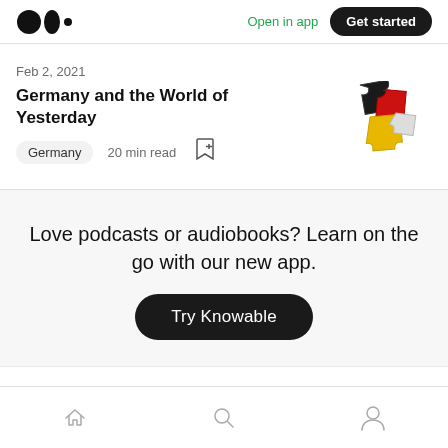Medium logo | Open in app | Get started
Feb 2, 2021
Germany and the World of Yesterday
Germany  20 min read
[Figure (illustration): Puzzle pieces in black, red, and yellow/gold colors representing the German flag]
Love podcasts or audiobooks? Learn on the go with our new app.
Try Knowable
Home | Search | Profile navigation icons